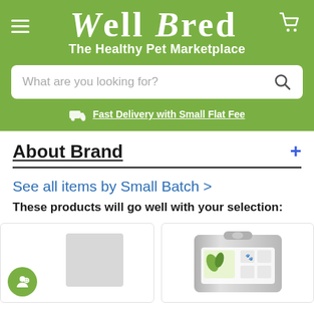Well Bred – The Healthy Pet Marketplace
What are you looking for?
Fast Delivery with Small Flat Fee
About Brand
See all items by Small Batch >
These products will go well with your selection:
[Figure (screenshot): Two product cards showing pet food items from Small Batch brand. Left card has a green accessibility badge and a grey pouch. Right card shows a silver/grey resealable bag with green leaf icons and product labels.]